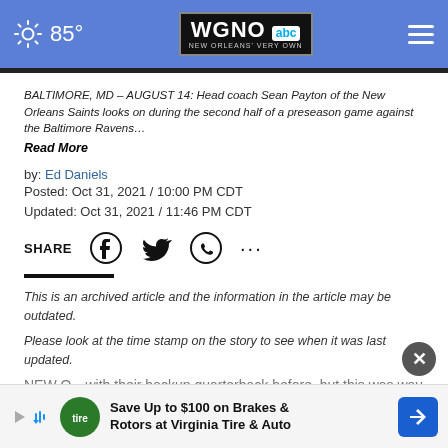85° WGNO ABC New Orleans' Very Own
BALTIMORE, MD – AUGUST 14: Head coach Sean Payton of the New Orleans Saints looks on during the second half of a preseason game against the Baltimore Ravens…
Read More
by: Ed Daniels
Posted: Oct 31, 2021 / 10:00 PM CDT
Updated: Oct 31, 2021 / 11:46 PM CDT
SHARE
This is an archived article and the information in the article may be outdated. Please look at the time stamp on the story to see when it was last updated.
NEW O…with their backup quarterback before, but this was way
[Figure (advertisement): Ad banner: Save Up to $100 on Brakes & Rotors at Virginia Tire & Auto]